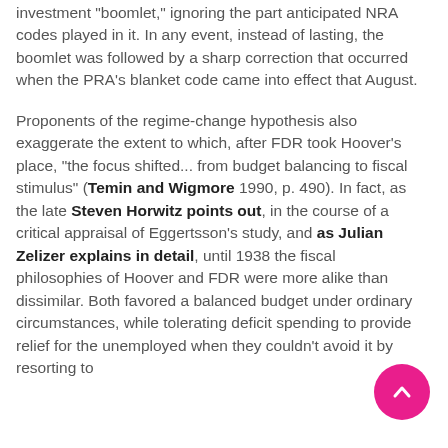investment "boomlet," ignoring the part anticipated NRA codes played in it. In any event, instead of lasting, the boomlet was followed by a sharp correction that occurred when the PRA's blanket code came into effect that August.
Proponents of the regime-change hypothesis also exaggerate the extent to which, after FDR took Hoover's place, "the focus shifted... from budget balancing to fiscal stimulus" (Temin and Wigmore 1990, p. 490). In fact, as the late Steven Horwitz points out, in the course of a critical appraisal of Eggertsson's study, and as Julian Zelizer explains in detail, until 1938 the fiscal philosophies of Hoover and FDR were more alike than dissimilar. Both favored a balanced budget under ordinary circumstances, while tolerating deficit spending to provide relief for the unemployed when they couldn't avoid it by resorting to
[Figure (other): Pink circular scroll-to-top button with upward chevron arrow icon]